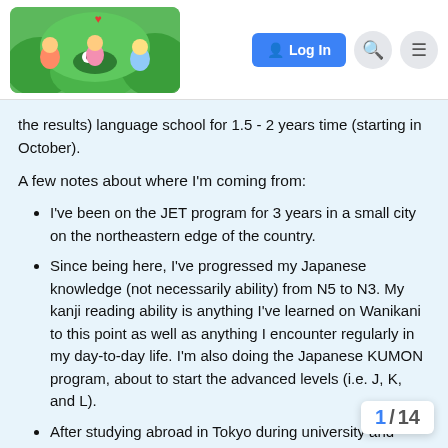[Figure (logo): WaniKani community forum logo with cartoon children and a crocodile surrounded by foliage]
[Figure (infographic): Navigation bar with Log In button, search icon, and hamburger menu icon]
the results) language school for 1.5 - 2 years time (starting in October).
A few notes about where I'm coming from:
I've been on the JET program for 3 years in a small city on the northeastern edge of the country.
Since being here, I've progressed my Japanese knowledge (not necessarily ability) from N5 to N3. My kanji reading ability is anything I've learned on Wanikani to this point as well as anything I encounter regularly in my day-to-day life. I'm also doing the Japanese KUMON program, about to start the advanced levels (i.e. J, K, and L).
After studying abroad in Tokyo during university and living here in the inaka these past few years, I'm more motivated to learn than ever and want to learn well.
I think I have a good grasp on many of the difficulties of life in Japan, just not the difficulties of navigating attending language school. Maybe this is why I...
1 / 14